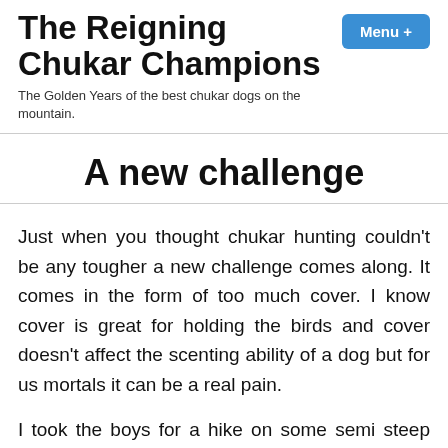The Reigning Chukar Champions
The Golden Years of the best chukar dogs on the mountain.
A new challenge
Just when you thought chukar hunting couldn't be any tougher a new challenge comes along. It comes in the form of too much cover. I know cover is great for holding the birds and cover doesn't affect the scenting ability of a dog but for us mortals it can be a real pain.
I took the boys for a hike on some semi steep chukar country today and got my butt whipped. Have you ever had to move water lines in waist high alfalfa? Do you